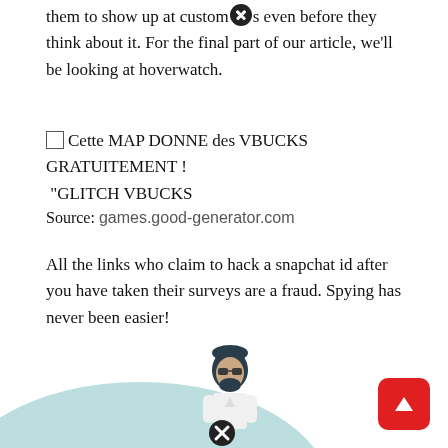them to show up at customs even before they think about it. For the final part of our article, we'll be looking at hoverwatch.
Cette MAP DONNE des VBUCKS GRATUITEMENT ! "GLITCH VBUCKS
Source: games.good-generator.com
All the links who claim to hack a snapchat id after you have taken their surveys are a fraud. Spying has never been easier!
[Figure (illustration): Illustration of a bearded man wearing sunglasses and casual clothes, with a teal/light blue abstract shape behind him. A red rounded square button with an upward arrow is in the bottom right corner. Two close (X) button icons are visible overlaid on the image.]